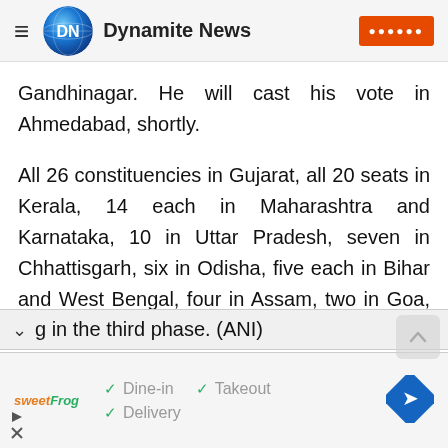Dynamite News
Gandhinagar. He will cast his vote in Ahmedabad, shortly.
All 26 constituencies in Gujarat, all 20 seats in Kerala, 14 each in Maharashtra and Karnataka, 10 in Uttar Pradesh, seven in Chhattisgarh, six in Odisha, five each in Bihar and West Bengal, four in Assam, two in Goa, one each in Jammu and Kashmir, Dadra and Nagar Haveli, Daman and Diu and Tripura are witnessing
g in the third phase. (ANI)
[Figure (other): Advertisement banner for sweetFrog showing Dine-in, Takeout, Delivery options with navigation icon]